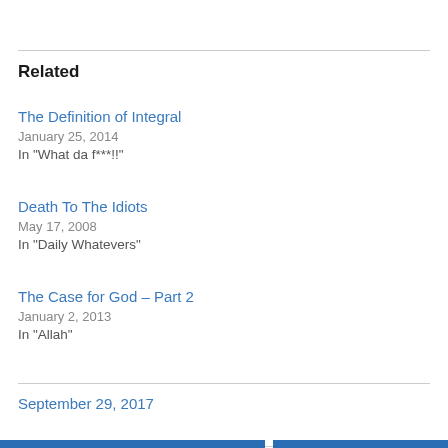Related
The Definition of Integral
January 25, 2014
In "What da f***!!"
Death To The Idiots
May 17, 2008
In "Daily Whatevers"
The Case for God – Part 2
January 2, 2013
In "Allah"
September 29, 2017